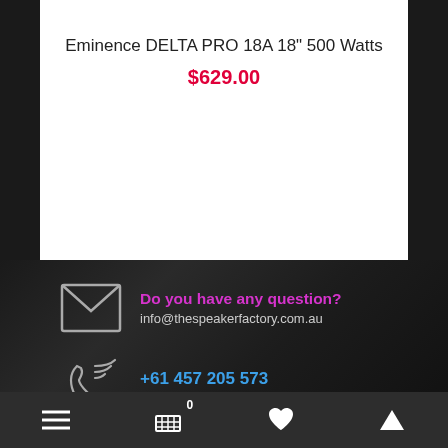Eminence DELTA PRO 18A 18" 500 Watts
$629.00
Do you have any question?
info@thespeakerfactory.com.au
+61 457 205 573
Mon – Fri: 9:00am – 4:00pm
≡  🛒 0  ♥  ▲